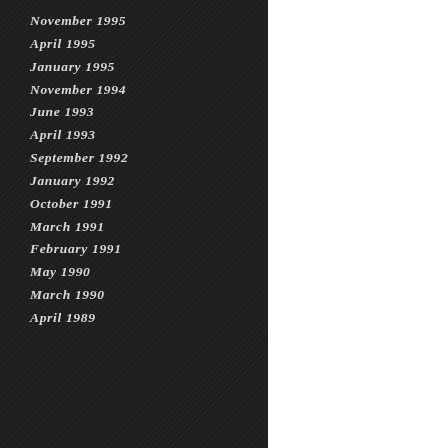November 1995
April 1995
January 1995
November 1994
June 1993
April 1993
September 1992
January 1992
October 1991
March 1991
February 1991
May 1990
March 1990
April 1989